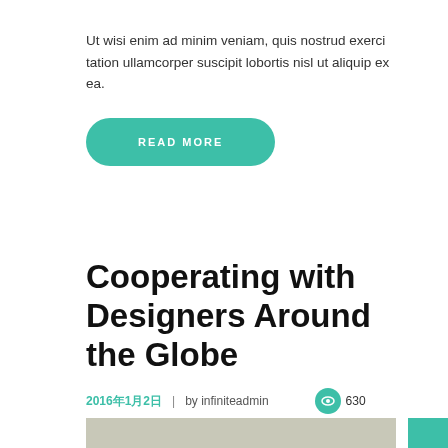Ut wisi enim ad minim veniam, quis nostrud exerci tation ullamcorper suscipit lobortis nisl ut aliquip ex ea.
READ MORE
Cooperating with Designers Around the Globe
2016年1月2日  |  by infiniteadmin   630